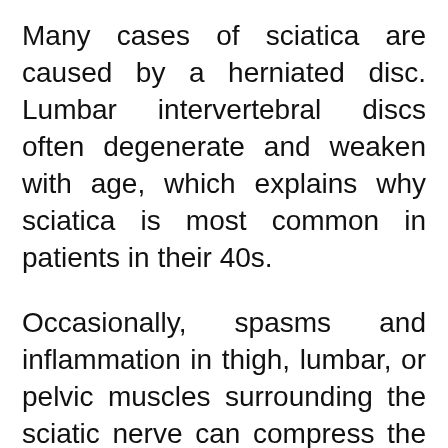Many cases of sciatica are caused by a herniated disc. Lumbar intervertebral discs often degenerate and weaken with age, which explains why sciatica is most common in patients in their 40s.
Occasionally, spasms and inflammation in thigh, lumbar, or pelvic muscles surrounding the sciatic nerve can compress the nerve and bring on sciatica symptoms.
When we're treating sciatica, we want to